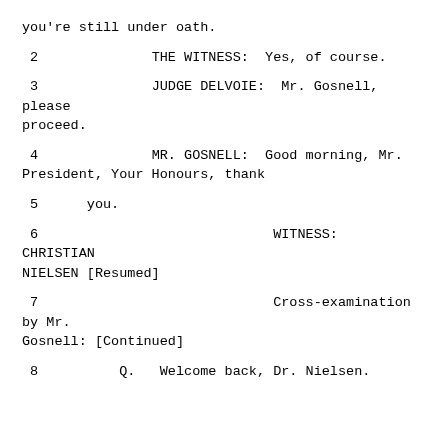you're still under oath.
2              THE WITNESS:  Yes, of course.
3              JUDGE DELVOIE:  Mr. Gosnell, please proceed.
4              MR. GOSNELL:  Good morning, Mr. President, Your Honours, thank
5      you.
6                             WITNESS:  CHRISTIAN NIELSEN [Resumed]
7                             Cross-examination by Mr. Gosnell: [Continued]
8          Q.   Welcome back, Dr. Nielsen.